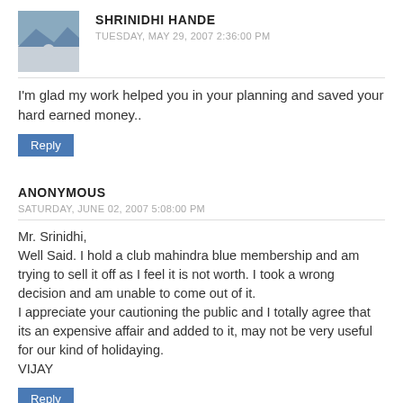SHRINIDHI HANDE
TUESDAY, MAY 29, 2007 2:36:00 PM
I'm glad my work helped you in your planning and saved your hard earned money..
Reply
ANONYMOUS
SATURDAY, JUNE 02, 2007 5:08:00 PM
Mr. Srinidhi,
Well Said. I hold a club mahindra blue membership and am trying to sell it off as I feel it is not worth. I took a wrong decision and am unable to come out of it.
I appreciate your cautioning the public and I totally agree that its an expensive affair and added to it, may not be very useful for our kind of holidaying.
VIJAY
Reply
SHRINIDHI HANDE
SUNDAY, JUNE 03, 2007 8:55:00 PM